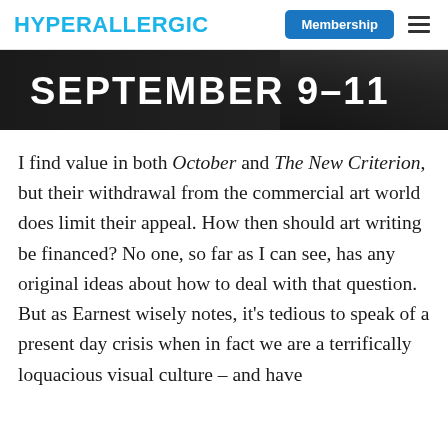HYPERALLERGIC | Membership ≡
[Figure (other): Dark banner image with text 'SEPTEMBER 9–11' in white bold sans-serif font on a dark grey/black background]
I find value in both October and The New Criterion, but their withdrawal from the commercial art world does limit their appeal. How then should art writing be financed? No one, so far as I can see, has any original ideas about how to deal with that question. But as Earnest wisely notes, it's tedious to speak of a present day crisis when in fact we are a terrifically loquacious visual culture – and have